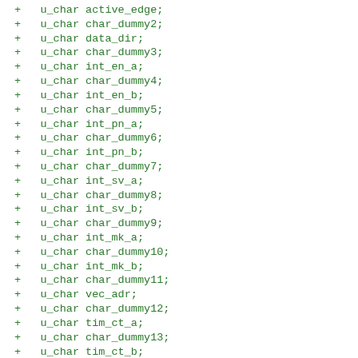+ u_char active_edge;
+ u_char char_dummy2;
+ u_char data_dir;
+ u_char char_dummy3;
+ u_char int_en_a;
+ u_char char_dummy4;
+ u_char int_en_b;
+ u_char char_dummy5;
+ u_char int_pn_a;
+ u_char char_dummy6;
+ u_char int_pn_b;
+ u_char char_dummy7;
+ u_char int_sv_a;
+ u_char char_dummy8;
+ u_char int_sv_b;
+ u_char char_dummy9;
+ u_char int_mk_a;
+ u_char char_dummy10;
+ u_char int_mk_b;
+ u_char char_dummy11;
+ u_char vec_adr;
+ u_char char_dummy12;
+ u_char tim_ct_a;
+ u_char char_dummy13;
+ u_char tim_ct_b;